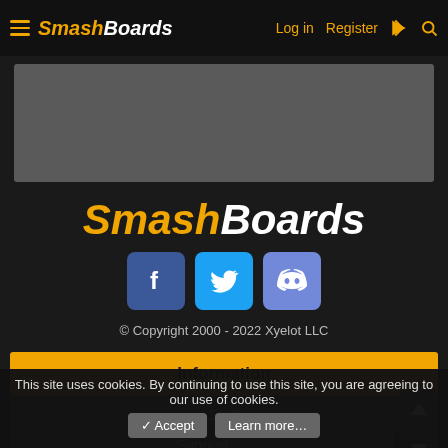SmashBoards  Log in  Register
[Figure (screenshot): Advertisement placeholder gray box]
SmashBoards
[Figure (infographic): Social media icons: Facebook, Twitter, Discord]
© Copyright 2000 - 2022 Xyelot LLC
Information
Staff
Support
This site uses cookies. By continuing to use this site, you are agreeing to our use of cookies.
✓ Accept   Learn more…